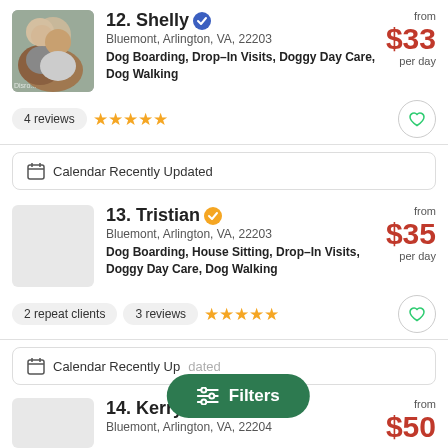12. Shelly — Bluemont, Arlington, VA, 22203 — Dog Boarding, Drop-In Visits, Doggy Day Care, Dog Walking — from $33 per day — 4 reviews — 5 stars
Calendar Recently Updated
13. Tristian — Bluemont, Arlington, VA, 22203 — Dog Boarding, House Sitting, Drop-In Visits, Doggy Day Care, Dog Walking — from $35 per day — 2 repeat clients — 3 reviews — 5 stars
Calendar Recently Updated
14. Kerryellen — Bluemont, Arlington, VA, 22204 — from $50